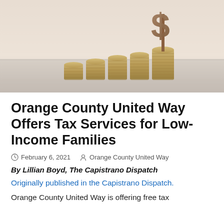[Figure (photo): Five stacked coin piles of increasing height with a wooden dollar sign on top of the tallest stack, against a light beige background.]
Orange County United Way Offers Tax Services for Low-Income Families
February 6, 2021   Orange County United Way
By Lillian Boyd, The Capistrano Dispatch
Originally published in the Capistrano Dispatch.
Orange County United Way is offering free tax